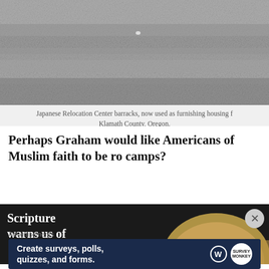[Figure (photo): Black and white photograph of Japanese Relocation Center barracks, now used as furnishing housing, Klamath County, Oregon.]
Japanese Relocation Center barracks, now used as furnishing housing f Klamath County, Oregon.
Perhaps Graham would like Americans of Muslim faith to be ro camps?
[Figure (photo): Photo of a person with text overlay reading 'Scripture warns us of' on a dark background.]
Advertisements
[Figure (screenshot): Advertisement banner: Create surveys, polls, quizzes, and forms. With WordPress and SurveyMonkey logos.]